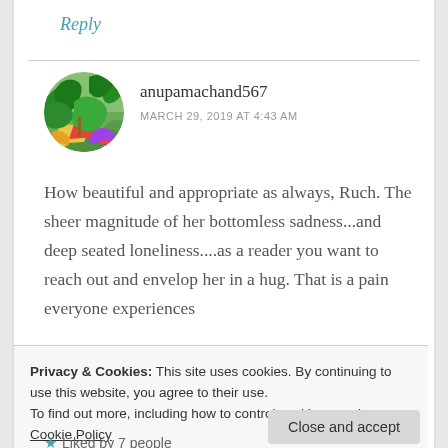Reply
[Figure (photo): Circular avatar image showing a colorful garden with flower-lined pathways and trees]
anupamachand567
MARCH 29, 2019 AT 4:43 AM
How beautiful and appropriate as always, Ruch. The sheer magnitude of her bottomless sadness...and deep seated loneliness....as a reader you want to reach out and envelop her in a hug. That is a pain everyone experiences
Privacy & Cookies: This site uses cookies. By continuing to use this website, you agree to their use.
To find out more, including how to control cookies, see here: Cookie Policy
Close and accept
Liked by 7 people